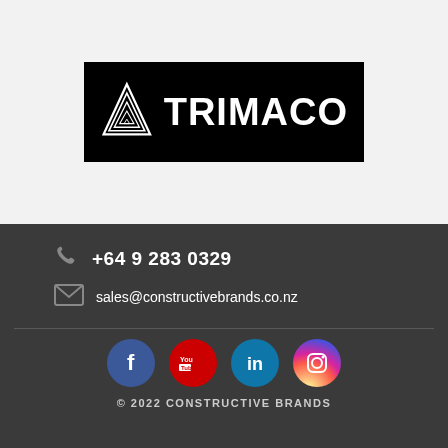[Figure (logo): TRIMACO logo: black rectangle background with white triangle/stripes icon on the left and bold white text 'TRIMACO' on the right]
+64 9 283 0329
sales@constructivebrands.co.nz
[Figure (infographic): Social media icons: Facebook (blue circle), YouTube (red circle), LinkedIn (teal circle), Instagram (gradient circle)]
© 2022 CONSTRUCTIVE BRANDS